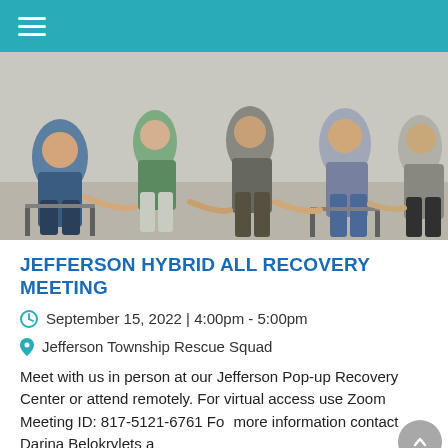Navigation menu header bar
[Figure (photo): Group of people sitting in a circle in a support/recovery meeting setting, showing their lower bodies and hands]
JEFFERSON HYBRID ALL RECOVERY MEETING
September 15, 2022 | 4:00pm - 5:00pm
Jefferson Township Rescue Squad
Meet with us in person at our Jefferson Pop-up Recovery Center or attend remotely. For virtual access use Zoom Meeting ID: 817-5121-6761 For more information contact Darina Belokrylets at